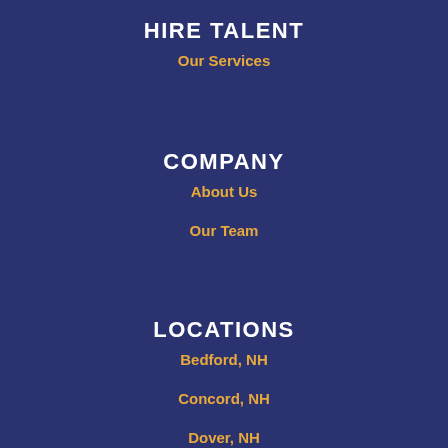HIRE TALENT
Our Services
COMPANY
About Us
Our Team
LOCATIONS
Bedford, NH
Concord, NH
Dover, NH